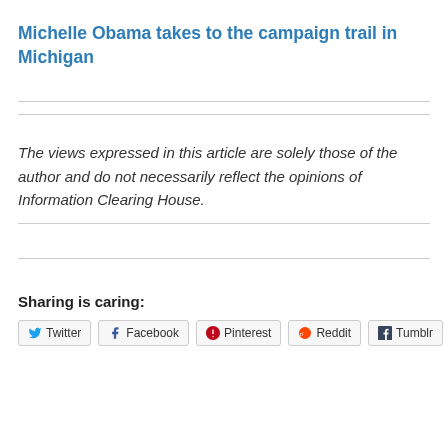Michelle Obama takes to the campaign trail in Michigan
The views expressed in this article are solely those of the author and do not necessarily reflect the opinions of Information Clearing House.
Sharing is caring:
Twitter   Facebook   Pinterest   Reddit   Tumblr